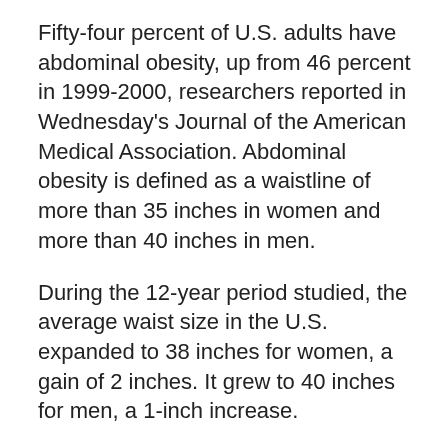Fifty-four percent of U.S. adults have abdominal obesity, up from 46 percent in 1999-2000, researchers reported in Wednesday’s Journal of the American Medical Association. Abdominal obesity is defined as a waistline of more than 35 inches in women and more than 40 inches in men.
During the 12-year period studied, the average waist size in the U.S. expanded to 38 inches for women, a gain of 2 inches. It grew to 40 inches for men, a 1-inch increase.
MORE COVERAGE
Obesity Remains Rampant Across America
‘Fat shaming’ doesn’t motivate obese people to lose weight
“The increase is a concern. There’s no question about that,” said Dr. William Dietz